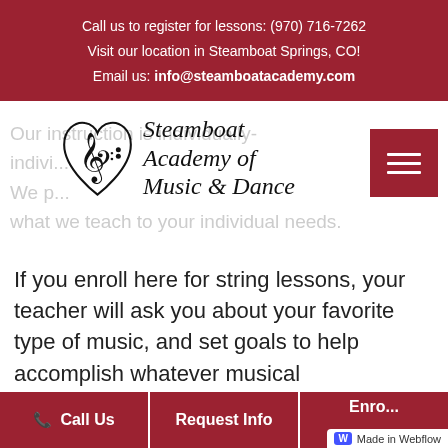Call us to register for lessons: (970) 716-7262
Visit our location in Steamboat Springs, CO!
Email us: info@steamboatacademy.com
[Figure (logo): Steamboat Academy of Music & Dance logo — a heart shape formed by musical clef symbols, with cursive text reading 'Steamboat Academy of Music & Dance']
Our instruction is individually-focused—We provide private, individual lessons, and we tailor what we teach to your individual needs.
If you enroll here for string lessons, your teacher will ask you about your favorite type of music, and set goals to help accomplish whatever musical
Call Us | Request Info | Enroll Now | Made in Webflow